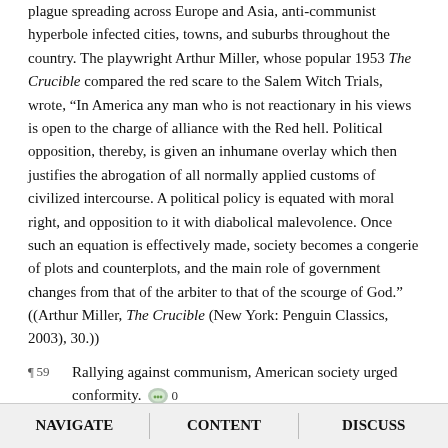plague spreading across Europe and Asia, anti-communist hyperbole infected cities, towns, and suburbs throughout the country. The playwright Arthur Miller, whose popular 1953 The Crucible compared the red scare to the Salem Witch Trials, wrote, “In America any man who is not reactionary in his views is open to the charge of alliance with the Red hell. Political opposition, thereby, is given an inhumane overlay which then justifies the abrogation of all normally applied customs of civilized intercourse. A political policy is equated with moral right, and opposition to it with diabolical malevolence. Once such an equation is effectively made, society becomes a congerie of plots and counterplots, and the main role of government changes from that of the arbiter to that of the scourge of God.” ((Arthur Miller, The Crucible (New York: Penguin Classics, 2003), 30.))
¶59  Rallying against communism, American society urged conformity. “Deviant” behavior became dangerous. Having entered the workforce en masse as part of a collective effort in World War II, middle class women were told to return to house-making responsibilities. Having fought and died abroad to for American democracy, blacks were told to return home and acquiesce to the
NAVIGATE   CONTENT   DISCUSS